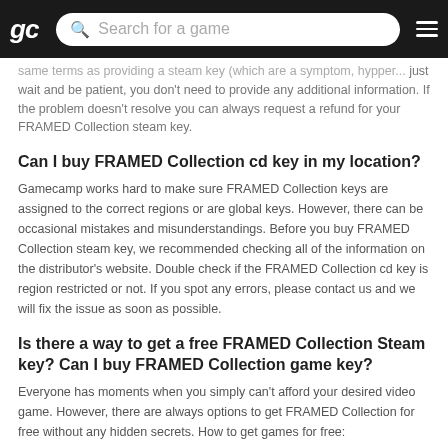gc  Search for a game  ☰
same terms as providing a steam key (which are a symptom, hypper... just wait and be patient, you don't need to provide any additional information. If the problem doesn't resolve you can always request a refund for your FRAMED Collection steam key.
Can I buy FRAMED Collection cd key in my location?
Gamecamp works hard to make sure FRAMED Collection keys are assigned to the correct regions or are global keys. However, there can be occasional mistakes and misunderstandings. Before you buy FRAMED Collection steam key, we recommended checking all of the information on the distributor's website. Double check if the FRAMED Collection cd key is region restricted or not. If you spot any errors, please contact us and we will fix the issue as soon as possible.
Is there a way to get a free FRAMED Collection Steam key? Can I buy FRAMED Collection game key?
Everyone has moments when you simply can't afford your desired video game. However, there are always options to get FRAMED Collection for free without any hidden secrets. How to get games for free:
Sometimes, game stores give away games for free for a limited time. Game distributors like Humble Bundle, Indie Gala, Epic Games and even Steam do it regularly where you can get FRAMED Collection